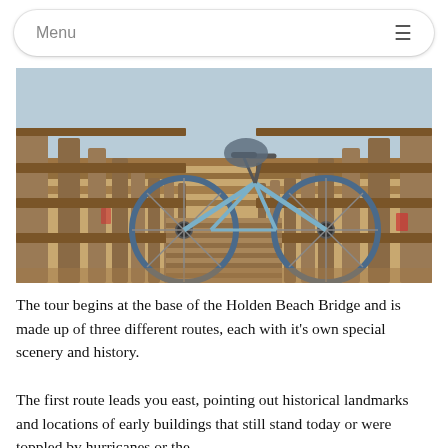Menu
[Figure (photo): A bicycle parked on a wooden boardwalk bridge at Holden Beach, with wooden railing fences on both sides, sandy beach and water visible in the background, HDR-style colorful photograph.]
The tour begins at the base of the Holden Beach Bridge and is made up of three different routes, each with it's own special scenery and history.
The first route leads you east, pointing out historical landmarks and locations of early buildings that still stand today or were toppled by hurricanes or the